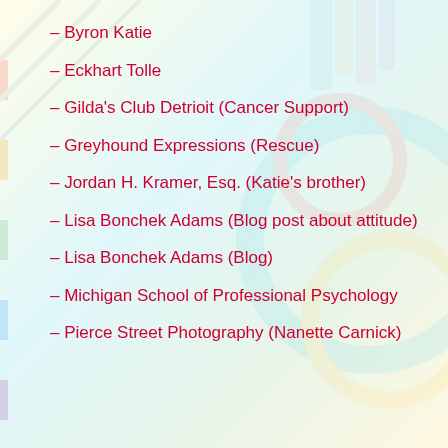– Byron Katie
– Eckhart Tolle
– Gilda's Club Detrioit (Cancer Support)
– Greyhound Expressions (Rescue)
– Jordan H. Kramer, Esq. (Katie's brother)
– Lisa Bonchek Adams (Blog post about attitude)
– Lisa Bonchek Adams (Blog)
– Michigan School of Professional Psychology
– Pierce Street Photography (Nanette Carnick)